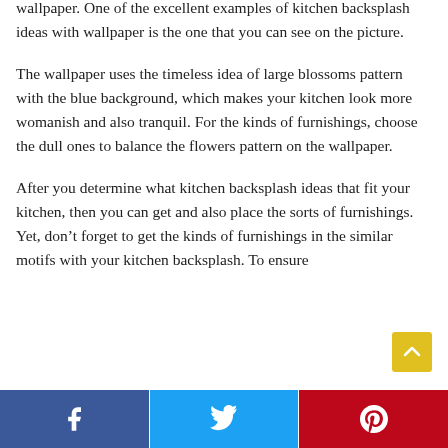wallpaper. One of the excellent examples of kitchen backsplash ideas with wallpaper is the one that you can see on the picture.
The wallpaper uses the timeless idea of large blossoms pattern with the blue background, which makes your kitchen look more womanish and also tranquil. For the kinds of furnishings, choose the dull ones to balance the flowers pattern on the wallpaper.
After you determine what kitchen backsplash ideas that fit your kitchen, then you can get and also place the sorts of furnishings. Yet, don't forget to get the kinds of furnishings in the similar motifs with your kitchen backsplash. To ensure